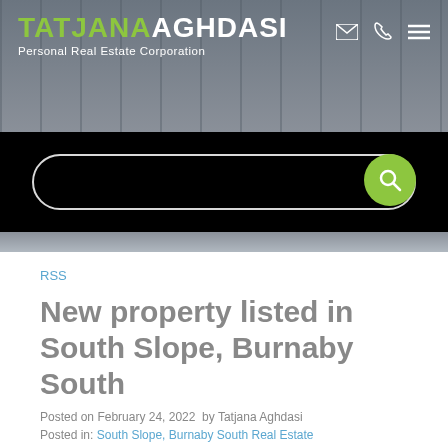TATJANA AGHDASI Personal Real Estate Corporation
[Figure (screenshot): Search bar on black background with green search button]
RSS
New property listed in South Slope, Burnaby South
Posted on February 24, 2022  by Tatjana Aghdasi
Posted in: South Slope, Burnaby South Real Estate
[Figure (other): Social share icon buttons (Twitter/Facebook)]